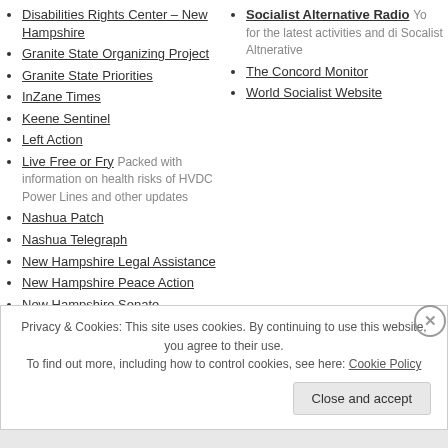Disabilities Rights Center – New Hampshire
Granite State Organizing Project
Granite State Priorities
InZane Times
Keene Sentinel
Left Action
Live Free or Fry Packed with information on health risks of HVDC Power Lines and other updates
Nashua Patch
Nashua Telegraph
New Hampshire Legal Assistance
New Hampshire Peace Action
New Hampshire Senate – Members, voting records and bills
Socialist Alternative Radio You for the latest activities and di Socalist Altnerative
The Concord Monitor
World Socialist Website
Privacy & Cookies: This site uses cookies. By continuing to use this website, you agree to their use. To find out more, including how to control cookies, see here: Cookie Policy